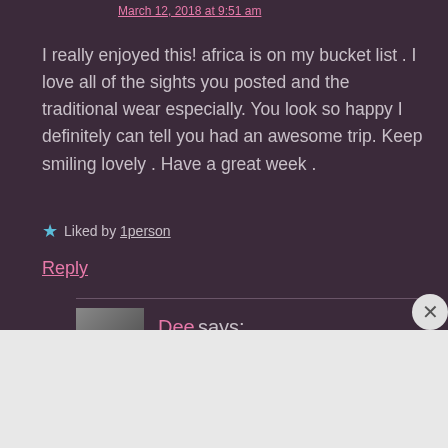March 12, 2018 at 9:51 am
I really enjoyed this! africa is on my bucket list . I love all of the sights you posted and the traditional wear especially. You look so happy I definitely can tell you had an awesome trip. Keep smiling lovely . Have a great week .
★ Liked by 1person
Reply
Dee says:
Advertisements
[Figure (other): DuckDuckGo advertisement banner: Search, browse, and email with more privacy. All in One Free App. DuckDuckGo logo on dark background.]